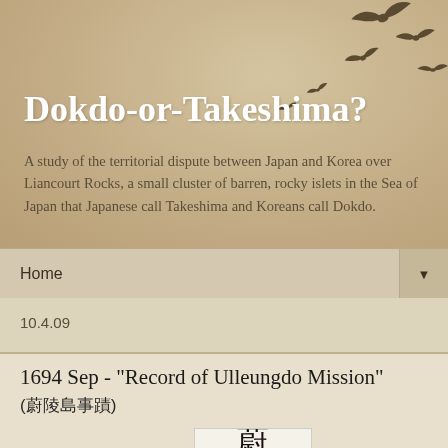Dokdo-or-Takeshima?
A study of the territorial dispute between Japan and Korea over Liancourt Rocks, a small cluster of barren, rocky islets in the Sea of Japan that Japanese call Takeshima and Koreans call Dokdo.
Home ▼
10.4.09
1694 Sep - "Record of Ulleungdo Mission" (蔚陵島事蹟)
[Figure (photo): Kanji/Hanja characters on white background, partial view showing two characters]